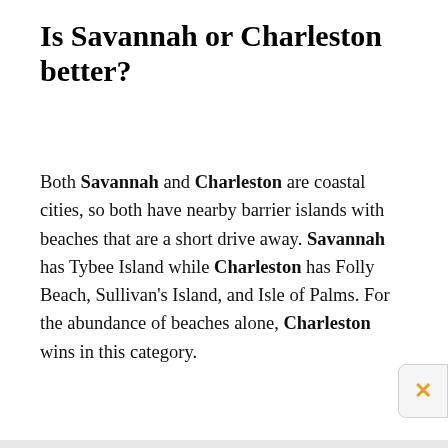Is Savannah or Charleston better?
Both Savannah and Charleston are coastal cities, so both have nearby barrier islands with beaches that are a short drive away. Savannah has Tybee Island while Charleston has Folly Beach, Sullivan's Island, and Isle of Palms. For the abundance of beaches alone, Charleston wins in this category.